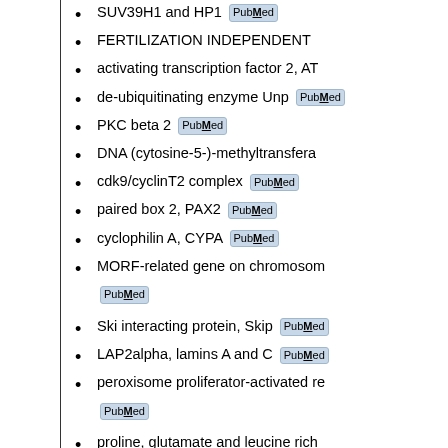SUV39H1 and HP1 [PubMed]
FERTILIZATION INDEPENDENT
activating transcription factor 2, AT
de-ubiquitinating enzyme Unp [PubMed]
PKC beta 2 [PubMed]
DNA (cytosine-5-)-methyltransfera
cdk9/cyclinT2 complex [PubMed]
paired box 2, PAX2 [PubMed]
cyclophilin A, CYPA [PubMed]
MORF-related gene on chromosom [PubMed]
Ski interacting protein, Skip [PubMed]
LAP2alpha, lamins A and C [PubMed]
peroxisome proliferator-activated re [PubMed]
proline, glutamate and leucine rich
Receptor of activated protein kinase
BCL2-associated athanogene, BAG